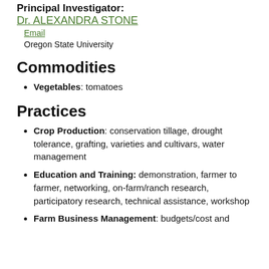Principal Investigator:
Dr. ALEXANDRA STONE
Email
Oregon State University
Commodities
Vegetables: tomatoes
Practices
Crop Production: conservation tillage, drought tolerance, grafting, varieties and cultivars, water management
Education and Training: demonstration, farmer to farmer, networking, on-farm/ranch research, participatory research, technical assistance, workshop
Farm Business Management: budgets/cost and